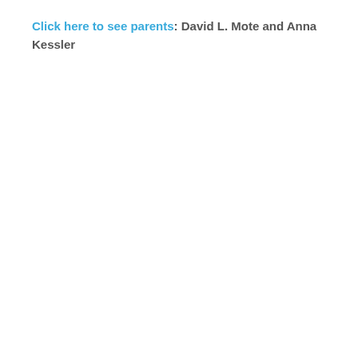Click here to see parents: David L. Mote and Anna Kessler